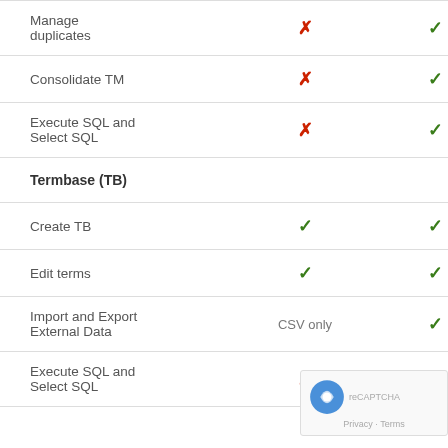| Feature | Col2 | Col3 | Col4 |
| --- | --- | --- | --- |
| Manage duplicates | ✗ | ✓ | • |
| Consolidate TM | ✗ | ✓ | • |
| Execute SQL and Select SQL | ✗ | ✓ | • |
| Termbase (TB) |  |  |  |
| Create TB | ✓ | ✓ | • |
| Edit terms | ✓ | ✓ | • |
| Import and Export External Data | CSV only | ✓ | • |
| Execute SQL and Select SQL | ✗ | ✓ | • |